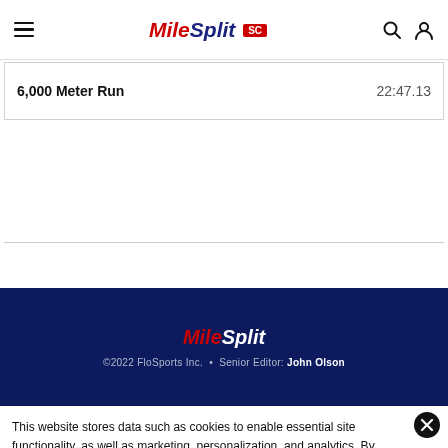MileSplit SC
| Event | Time |
| --- | --- |
| 6,000 Meter Run | 22:47.13 |
MileSplit · ©2022 FloSports Inc. · Senior Editor: John Olson
This website stores data such as cookies to enable essential site functionality, as well as marketing, personalization, and analytics. By remaining on this website you indicate your consent. Data Storage Policy